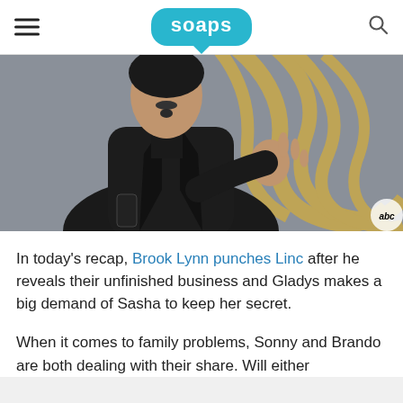soaps
[Figure (photo): A man dressed in black jacket gesturing with his hand, photographed against a gold and grey patterned background. ABC logo visible in bottom right corner.]
In today’s recap, Brook Lynn punches Linc after he reveals their unfinished business and Gladys makes a big demand of Sasha to keep her secret.
When it comes to family problems, Sonny and Brando are both dealing with their share. Will either